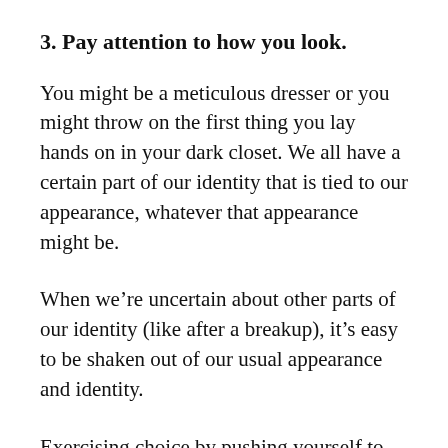3. Pay attention to how you look.
You might be a meticulous dresser or you might throw on the first thing you lay hands on in your dark closet. We all have a certain part of our identity that is tied to our appearance, whatever that appearance might be.
When we’re uncertain about other parts of our identity (like after a breakup), it’s easy to be shaken out of our usual appearance and identity.
Exercising choice by pushing yourself to put effort into how you look will help you